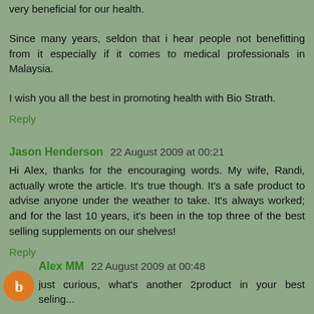very beneficial for our health.
Since many years, seldon that i hear people not benefitting from it especially if it comes to medical professionals in Malaysia.
I wish you all the best in promoting health with Bio Strath.
Reply
Jason Henderson  22 August 2009 at 00:21
Hi Alex, thanks for the encouraging words. My wife, Randi, actually wrote the article. It's true though. It's a safe product to advise anyone under the weather to take. It's always worked; and for the last 10 years, it's been in the top three of the best selling supplements on our shelves!
Reply
Alex MM  22 August 2009 at 00:48
just curious, what's another 2product in your best seling...